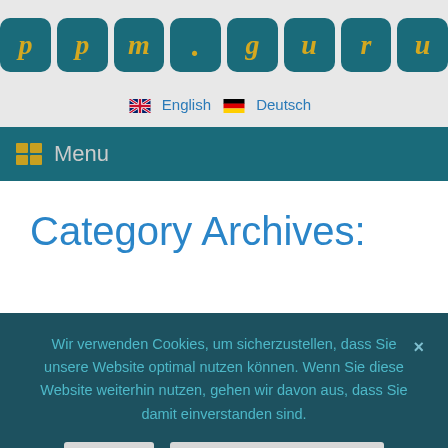[Figure (logo): ppm.guru logo with teal tiles and gold italic letters]
🇬🇧 English   🇩🇪 Deutsch
☰ Menu
Category Archives:
Wir verwenden Cookies, um sicherzustellen, dass Sie unsere Website optimal nutzen können. Wenn Sie diese Website weiterhin nutzen, gehen wir davon aus, dass Sie damit einverstanden sind.
Ok   Datenschutzerklärung